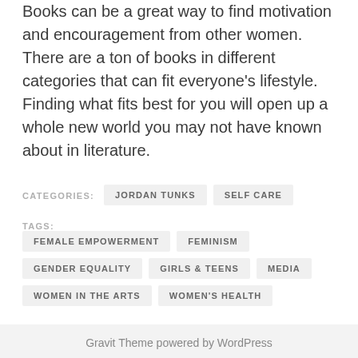Books can be a great way to find motivation and encouragement from other women. There are a ton of books in different categories that can fit everyone's lifestyle. Finding what fits best for you will open up a whole new world you may not have known about in literature.
CATEGORIES: JORDAN TUNKS   SELF CARE
TAGS: FEMALE EMPOWERMENT   FEMINISM   GENDER EQUALITY   GIRLS & TEENS   MEDIA   WOMEN IN THE ARTS   WOMEN'S HEALTH
Gravit Theme powered by WordPress